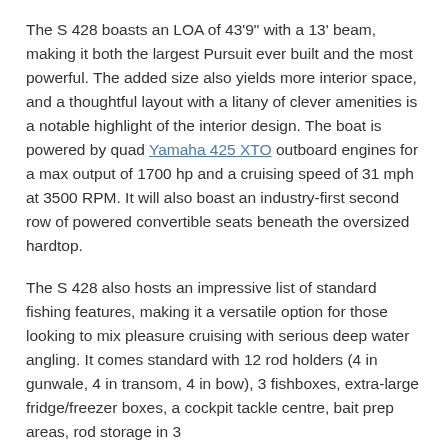The S 428 boasts an LOA of 43'9" with a 13' beam, making it both the largest Pursuit ever built and the most powerful. The added size also yields more interior space, and a thoughtful layout with a litany of clever amenities is a notable highlight of the interior design. The boat is powered by quad Yamaha 425 XTO outboard engines for a max output of 1700 hp and a cruising speed of 31 mph at 3500 RPM. It will also boast an industry-first second row of powered convertible seats beneath the oversized hardtop.
The S 428 also hosts an impressive list of standard fishing features, making it a versatile option for those looking to mix pleasure cruising with serious deep water angling. It comes standard with 12 rod holders (4 in gunwale, 4 in transom, 4 in bow), 3 fishboxes, extra-large fridge/freezer boxes, a cockpit tackle centre, bait prep areas, rod storage in 3